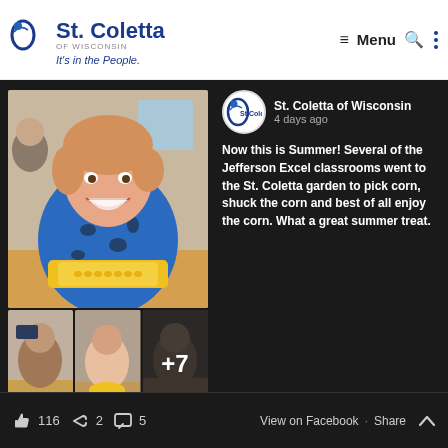[Figure (logo): St. Coletta of Wisconsin logo with tagline 'It's in the People.']
≡  Menu  🔍  ⋮
[Figure (photo): Facebook post from St. Coletta of Wisconsin showing photos of people eating corn. Main photo: smiling woman in blue patterned shirt with corn on table. Three thumbnails below: man with corn, woman eating corn, man at table with +7 overlay.]
St. Coletta of Wisconsin
4 days ago

Now this is Summer! Several of the Jefferson Excel classrooms went to the St. Coletta garden to pick corn, shuck the corn and best of all enjoy the corn. What a great summer treat.
👍 116  ↪ 2  💬 5    View on Facebook · Share ∧